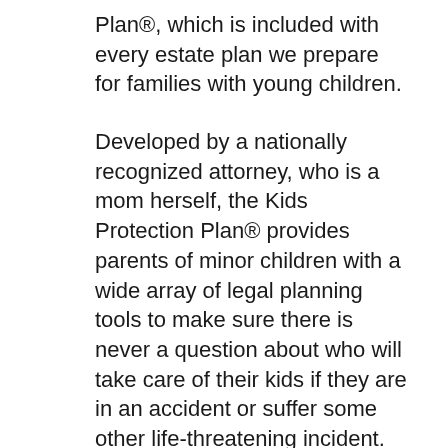Plan®, which is included with every estate plan we prepare for families with young children.
Developed by a nationally recognized attorney, who is a mom herself, the Kids Protection Plan® provides parents of minor children with a wide array of legal planning tools to make sure there is never a question about who will take care of their kids if they are in an accident or suffer some other life-threatening incident.
The full Kids Protection Plan® includes all of the following: